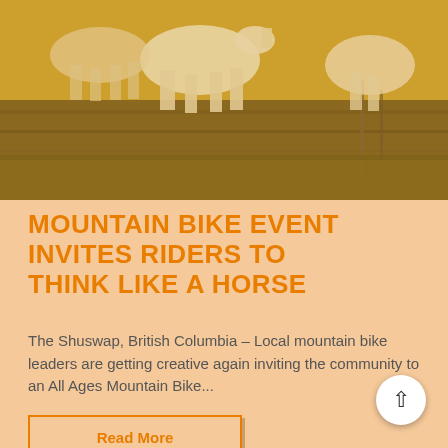[Figure (photo): Horses running through golden grassy field in warm sunlight]
MOUNTAIN BIKE EVENT INVITES RIDERS TO THINK LIKE A HORSE
The Shuswap, British Columbia – Local mountain bike leaders are getting creative again inviting the community to an All Ages Mountain Bike...
Read More
[Figure (photo): Dark forest/tree canopy viewed from below at night or dusk]
Exploring Respectfully